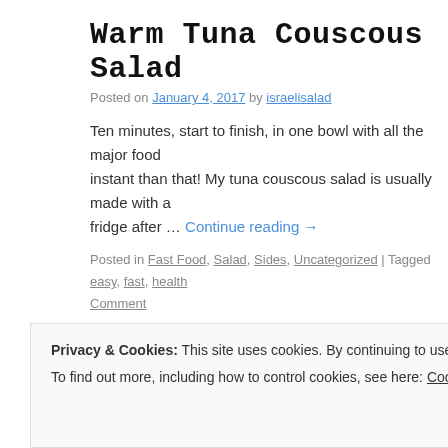Warm Tuna Couscous Salad
Posted on January 4, 2017 by israelisalad
Ten minutes, start to finish, in one bowl with all the major food instant than that! My tuna couscous salad is usually made with a fridge after … Continue reading →
Posted in Fast Food, Salad, Sides, Uncategorized | Tagged easy, fast, health Comment
Sunny Avocado Salad
Posted on December 15, 2016 by israelisalad
Privacy & Cookies: This site uses cookies. By continuing to use this website, you agree to their use. To find out more, including how to control cookies, see here: Cookie Policy
Close and accept